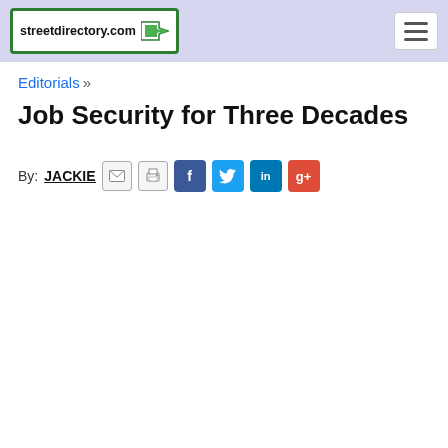streetdirectory.com
Editorials »
Job Security for Three Decades
By: JACKIE